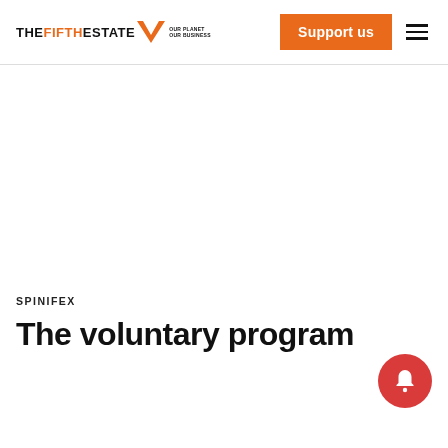THE FIFTH ESTATE — OUR PLANET OUR BUSINESS | Support us
SPINIFEX
The voluntary program